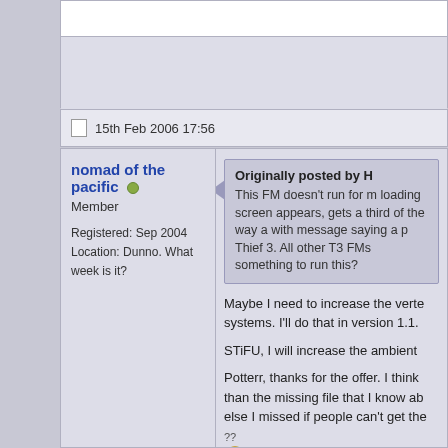15th Feb 2006 17:56
nomad of the pacific
Member
Registered: Sep 2004
Location: Dunno. What week is it?
Originally posted by H
This FM doesn't run for m loading screen appears, gets a third of the way a with message saying a p Thief 3. All other T3 FMs something to run this?
Maybe I need to increase the verte systems. I'll do that in version 1.1.
STiFU, I will increase the ambient
Potterr, thanks for the offer. I think than the missing file that I know a else I missed if people can't get the
Garretloader seemed to work c install, though, so I'm still not sure
Has anyone been able to complete